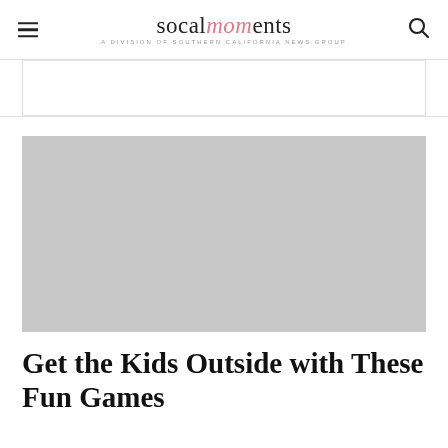socalmoments — A DIVISION OF SOUTHERN CALIFORNIA NEWS GROUP
[Figure (photo): Gray placeholder rectangle representing the hero image for the article]
Get the Kids Outside with These Fun Games